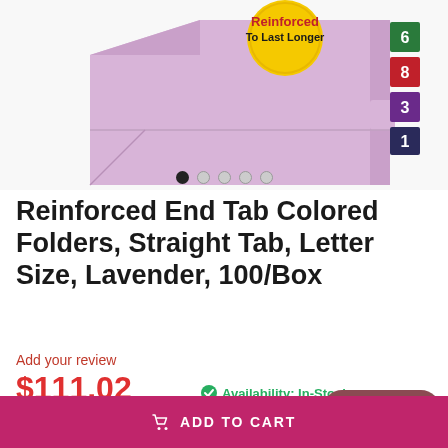[Figure (photo): Product photo of a lavender/pink reinforced end tab colored folder with numbered color-coded tabs on the right edge (numbers 6, 8, 3, 1) and a circular badge reading 'Reinforced To Last Longer'. Below the image are pagination dots (5 dots, first one filled/active).]
Reinforced End Tab Colored Folders, Straight Tab, Letter Size, Lavender, 100/Box
Add your review
$111.02
Availability: In-Stock
Chat with us
ADD TO CART